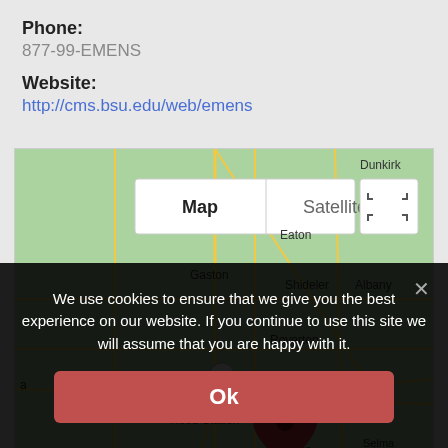Phone:
877-99-EMENS
Website:
http://cms.bsu.edu/web/emens
[Figure (map): Google Maps showing Muncie Indiana area with map/satellite toggle, roads, and a red location pin near Muncie. Visible place names: Dunkirk, Eaton, Gaston, Shideler, Albany, Royerton, Reed Station, Muncie, Selma, Daleville, Gowan, Chesterfield, Middletown. Interstate 69 and Route 35 visible.]
We use cookies to ensure that we give you the best experience on our website. If you continue to use this site we will assume that you are happy with it.
Ok